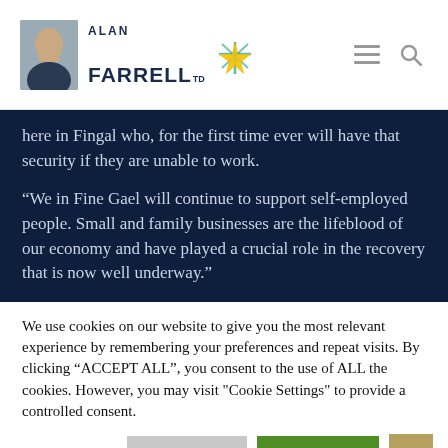Alan Farrell TD
here in Fingal who, for the first time ever will have that security if they are unable to work.
“We in Fine Gael will continue to support self-employed people. Small and family businesses are the lifeblood of our economy and have played a crucial role in the recovery that is now well underway.”
We use cookies on our website to give you the most relevant experience by remembering your preferences and repeat visits. By clicking “ACCEPT ALL”, you consent to the use of ALL the cookies. However, you may visit "Cookie Settings" to provide a controlled consent.
Cookie Settings | REJECT ALL | ACCEPT ALL